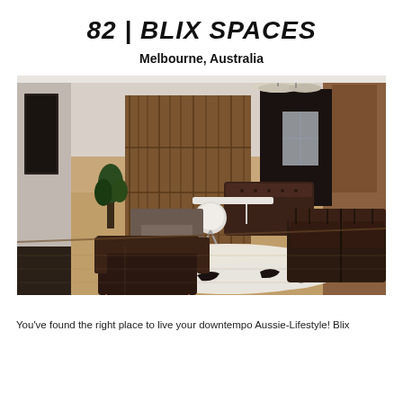82 | BLIX SPACES
Melbourne, Australia
[Figure (photo): Interior photo of a modern co-working or living space in Melbourne, Australia. The room features hardwood floors, wooden paneled walls and wardrobe, brown leather sofas and chairs, a cowhide rug, pendant lights, and a white dining table with modern chairs.]
You've found the right place to live your downtempo Aussie-Lifestyle! Blix